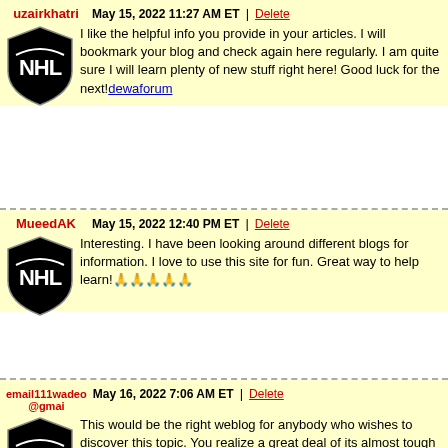uzairkhatri | May 15, 2022 11:27 AM ET | Delete
I like the helpful info you provide in your articles. I will bookmark your blog and check again here regularly. I am quite sure I will learn plenty of new stuff right here! Good luck for the next! dewaforum
MueedAK | May 15, 2022 12:40 PM ET | Delete
Interesting. I have been looking around different blogs for information. I love to use this site for fun. Great way to help learn! 🙏🙏🙏🙏🙏
email111wadeo@gmai | May 16, 2022 7:06 AM ET | Delete
This would be the right weblog for anybody who wishes to discover this topic. You realize a great deal of its almost tough to argue along with you (not too When I personally want…HaHa). You actually put a brand new spin using a topic thats been written about for decades. Wonderful stuff, just fantastic! seo is
azanansari | May 16, 2022 7:15 AM ET | Delete
Now i am really fresh to wordpress blogs. however what you post on this site is absolutely very good and very beneficial. I believe it would help me in the future. Thanks for the excellent work. 🙏🙏🙏🙏🙏🙏🙏🙏🙏🙏🙏🙏🙏🙏🙏🙏🙏🙏🙏🙏🙏🙏